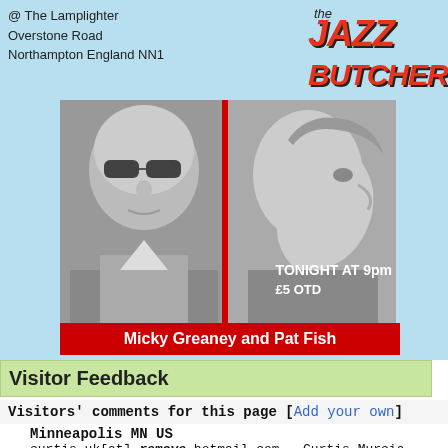@ The Lamplighter
Overstone Road
Northampton England NN1
[Figure (logo): The Jazz Butcher logo in red italic bold text]
[Figure (photo): Black and white poster showing two men. Left side: man with sunglasses, Right side: man in profile. Red vertical divider. Text reads TONIGHT AT 9pm £5 OTD. Bottom red banner: Micky Greaney and Pat Fish]
Visitor Feedback
Visitors' comments for this page [Add your own]
Minneapolis MN US
curtis_uk[at]-remove-hotmail.com - Curtis Murcia